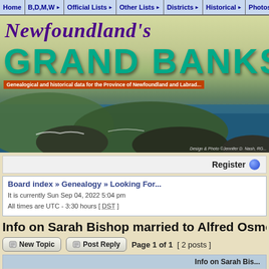Home | B,D,M,W ▶ | Official Lists ▶ | Other Lists ▶ | Districts ▶ | Historical ▶ | Photos ▶ | Ot
[Figure (photo): Newfoundland's Grand Banks website header banner with scenic coastal photo, purple script title 'Newfoundland's', large teal block letters 'GRAND BANKS', red subtitle bar with genealogical description, and rocky coastline landscape photo at bottom.]
Register
Board index » Genealogy » Looking For...
It is currently Sun Sep 04, 2022 5:04 pm
All times are UTC - 3:30 hours [ DST ]
Info on Sarah Bishop married to Alfred Osmon
New Topic   Post Reply   Page 1 of 1  [ 2 posts ]
| Info on Sarah Bis... |
| --- |
|  |